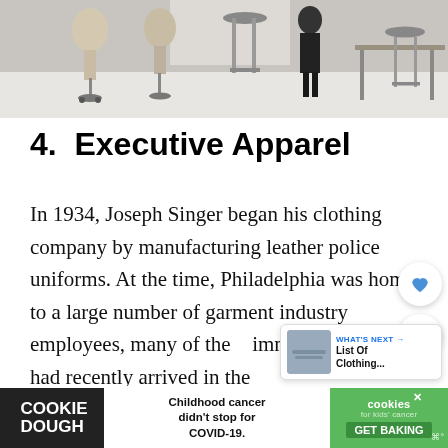[Figure (photo): Photo showing a clothing/fashion studio with dress mannequins, stools, and work tables on a white floor]
4.  Executive Apparel
In 1934, Joseph Singer began his clothing company by manufacturing leather police uniforms. At the time, Philadelphia was home to a large number of garment industry employees, many of them immigrants who had recently arrived in the
[Figure (infographic): Advertisement banner: Cookie Dough / Childhood cancer didn't stop for COVID-19. / cookies for kids cancer / GET BAKING]